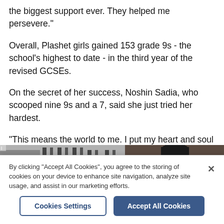the biggest support ever. They helped me persevere."
Overall, Plashet girls gained 153 grade 9s - the school's highest to date - in the third year of the revised GCSEs.
On the secret of her success, Noshin Sadia, who scooped nine 9s and a 7, said she just tried her hardest.
"This means the world to me. I put my heart and soul into revising. To come out with these grades makes me genuinely happy," she said.
[Figure (photo): Partial photo strip showing students or school-related imagery in black and white/colour]
By clicking "Accept All Cookies", you agree to the storing of cookies on your device to enhance site navigation, analyze site usage, and assist in our marketing efforts.
Cookies Settings | Accept All Cookies